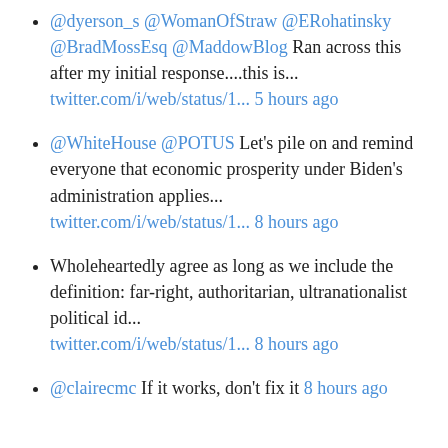@dyerson_s @WomanOfStraw @ERohatinsky @BradMossEsq @MaddowBlog Ran across this after my initial response....this is... twitter.com/i/web/status/1... 5 hours ago
@WhiteHouse @POTUS Let's pile on and remind everyone that economic prosperity under Biden's administration applies... twitter.com/i/web/status/1... 8 hours ago
Wholeheartedly agree as long as we include the definition: far-right, authoritarian, ultranationalist political id... twitter.com/i/web/status/1... 8 hours ago
@clairecmc If it works, don't fix it 8 hours ago